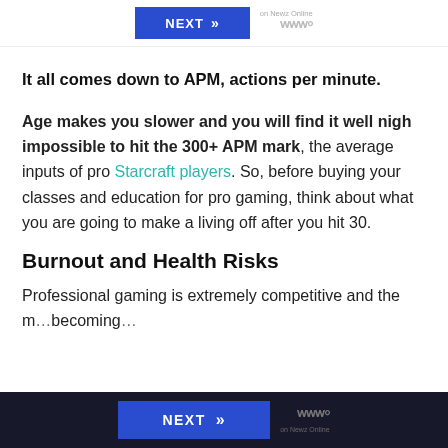[Figure (screenshot): Top navigation bar with a blue NEXT button and Newz Online / W logo branding]
It all comes down to APM, actions per minute.
Age makes you slower and you will find it well nigh impossible to hit the 300+ APM mark, the average inputs of pro Starcraft players. So, before buying your classes and education for pro gaming, think about what you are going to make a living off after you hit 30.
Burnout and Health Risks
Professional gaming is extremely competitive and the m… becoming…
[Figure (screenshot): Bottom navigation bar with a blue NEXT button with double chevron and Newz Online / W logo branding on dark background]